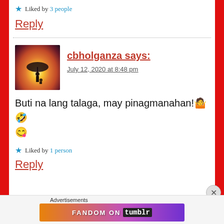★ Liked by 3 people
Reply
cbholganza says:
July 12, 2020 at 8:48 pm
Buti na lang talaga, may pinagmanahan!🤨🤪😋
★ Liked by 1 person
Reply
Advertisements
[Figure (illustration): FANDOM ON tumblr advertisement banner with colorful gradient background]